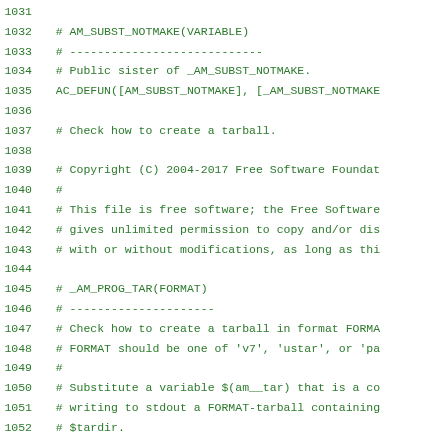Source code viewer lines 1031-1052 showing autoconf/automake macros
1031
1032  # AM_SUBST_NOTMAKE(VARIABLE)
1033  # ----------------------------
1034  # Public sister of _AM_SUBST_NOTMAKE.
1035  AC_DEFUN([AM_SUBST_NOTMAKE], [_AM_SUBST_NOTMAKE
1036
1037  # Check how to create a tarball.
1038
1039  # Copyright (C) 2004-2017 Free Software Foundat
1040  #
1041  # This file is free software; the Free Software
1042  # gives unlimited permission to copy and/or dis
1043  # with or without modifications, as long as thi
1044
1045  # _AM_PROG_TAR(FORMAT)
1046  # ---------------------
1047  # Check how to create a tarball in format FORMA
1048  # FORMAT should be one of 'v7', 'ustar', or 'pa
1049  #
1050  # Substitute a variable $(am__tar) that is a co
1051  # writing to stdout a FORMAT-tarball containing
1052  # $tardir.